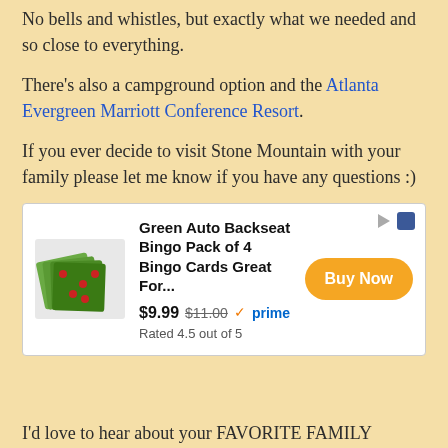No bells and whistles, but exactly what we needed and so close to everything.
There's also a campground option and the Atlanta Evergreen Marriott Conference Resort.
If you ever decide to visit Stone Mountain with your family please let me know if you have any questions :)
[Figure (other): Amazon advertisement for Green Auto Backseat Bingo Pack of 4 Bingo Cards. Price $9.99, was $11.00. Prime eligible. Rated 4.5 out of 5. Buy Now button.]
I'd love to hear about your FAVORITE FAMILY